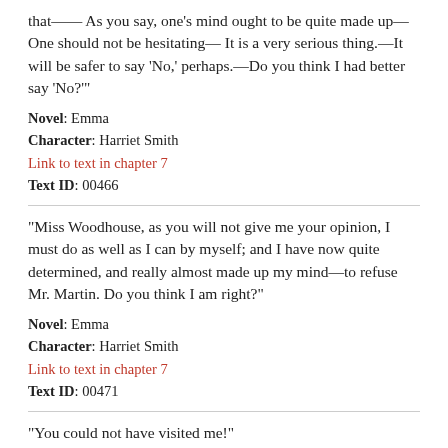that—— As you say, one's mind ought to be quite made up— One should not be hesitating— It is a very serious thing.—It will be safer to say 'No,' perhaps.—Do you think I had better say 'No?'"
Novel: Emma
Character: Harriet Smith
Link to text in chapter 7
Text ID: 00466
"Miss Woodhouse, as you will not give me your opinion, I must do as well as I can by myself; and I have now quite determined, and really almost made up my mind—to refuse Mr. Martin. Do you think I am right?"
Novel: Emma
Character: Harriet Smith
Link to text in chapter 7
Text ID: 00471
"You could not have visited me!"
Novel: Emma
Character: Harriet Smith